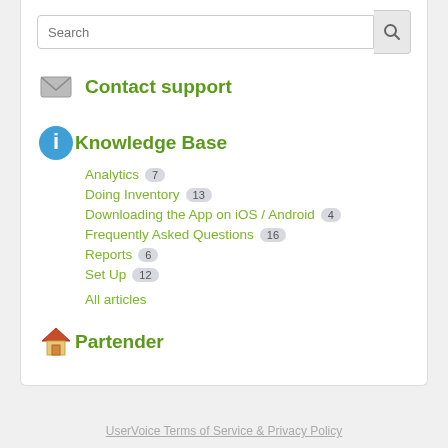Search
Contact support
Knowledge Base
Analytics 7
Doing Inventory 13
Downloading the App on iOS / Android 4
Frequently Asked Questions 16
Reports 6
Set Up 12
All articles
Partender
UserVoice Terms of Service & Privacy Policy